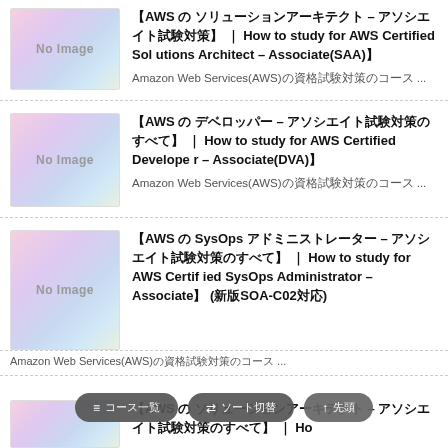【AWS 認定 ソリューションアーキテクト – アソシエイト試験対策】 ｜ How to study for AWS Certified Solutions Architect – Associate(SAA)】
Amazon Web Services(AWS)の資格試験対策のコース ...
【AWS 認定 デベロッパー – アソシエイト試験対策のすべて】 ｜ How to study for AWS Certified Developer – Associate(DVA)】
Amazon Web Services(AWS)の資格試験対策のコース ...
【AWS 認定 SysOps アドミニストレーター – アソシエイト試験対策のすべて】 ｜ How to study for AWS Certified SysOps Administrator – Associate】（新版SOA-C02対応）
Amazon Web Services(AWS)の資格試験対策のコース ...
AWS 認定 ...